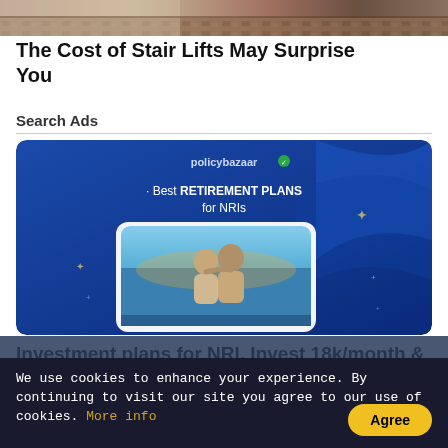[Figure (photo): Partial top image showing stairs/carpet and decorative architectural elements in warm tones]
The Cost of Stair Lifts May Surprise You
Search Ads
[Figure (illustration): PolicyBazaar advertisement with blue background showing 'Best RETIREMENT PLANS for NRIs' text and an image of an older couple sitting together looking at a sunset/ocean scene]
Investment plans for NRI. Invest 18k/month & Get Monthly Pension of 2
We use cookies to enhance your experience. By continuing to visit our site you agree to our use of cookies. More info